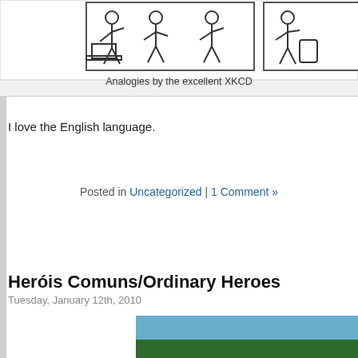[Figure (illustration): XKCD-style stick figure comic strip showing analogies, partially visible at top of page]
Analogies by the excellent XKCD
I love the English language.
Posted in Uncategorized | 1 Comment »
Heróis Comuns/Ordinary Heroes
Tuesday, January 12th, 2010
[Figure (photo): Three shirtless men appearing to fly or dive horizontally over a green lawn with trees in the background]